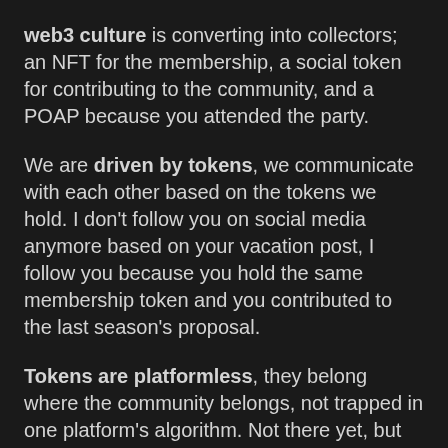web3 culture is converting into collectors; an NFT for the membership, a social token for contributing to the community, and a POAP because you attended the party.
We are driven by tokens, we communicate with each other based on the tokens we hold. I don't follow you on social media anymore based on your vacation post, I follow you because you hold the same membership token and you contributed to the last season's proposal.
Tokens are platformless, they belong where the community belongs, not trapped in one platform's algorithm. Not there yet, but we are going to jump from chain to chain and connect with different people in different ecosystems. Our reputation won't be based on Ethereum, our main identity can be held on Ethereum but our whole identity will be defined through